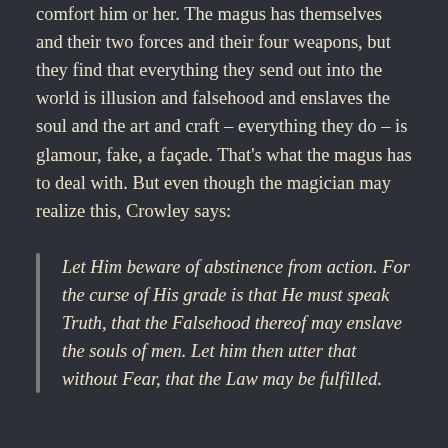comfort him or her. The magus has themselves and their two forces and their four weapons, but they find that everything they send out into the world is illusion and falsehood and enslaves the soul and the art and craft – everything they do – is glamour, fake, a façade. That's what the magus has to deal with. But even though the magician may realize this, Crowley says:
Let Him beware of abstinence from action. For the curse of His grade is that He must speak Truth, that the Falsehood thereof may enslave the souls of men. Let him then utter that without Fear, that the Law may be fulfilled.